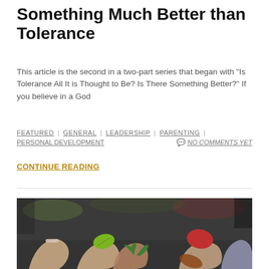Something Much Better than Tolerance
This article is the second in a two-part series that began with "Is Tolerance All It is Thought to Be? Is There Something Better?" If you believe in a God
FEATURED | GENERAL | LEADERSHIP | PARENTING | PERSONAL DEVELOPMENT     NO COMMENTS YET
CONTINUE READING
[Figure (photo): Multiple hands of different people holding various colorful leaves, symbolizing diversity and unity, photographed outdoors.]